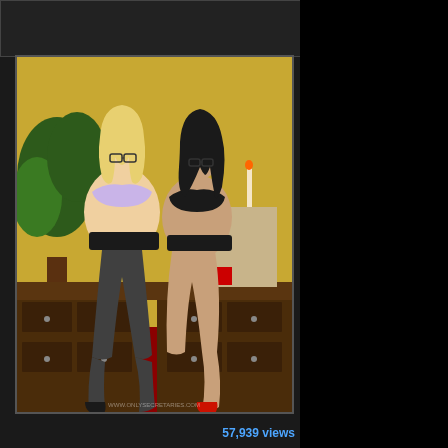[Figure (photo): Two women seated on a wooden desk in an office setting, one blonde wearing glasses and a lavender bra with black skirt and dark pantyhose with black heels, one brunette wearing glasses and a black bra with black skirt and red heels, yellow walls, plants in background]
57,939 views
NYLON